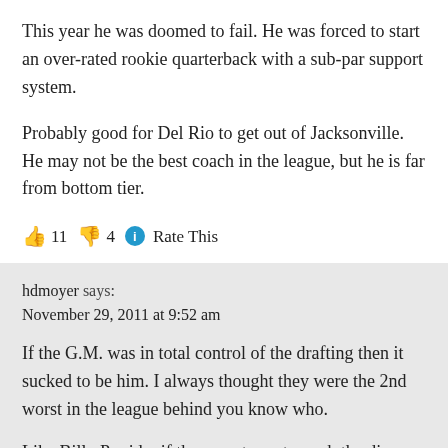This year he was doomed to fail. He was forced to start an over-rated rookie quarterback with a sub-par support system.
Probably good for Del Rio to get out of Jacksonville. He may not be the best coach in the league, but he is far from bottom tier.
👍 11 👎 4 ℹ Rate This
hdmoyer says:
November 29, 2011 at 9:52 am
If the G.M. was in total control of the drafting then it sucked to be him. I always thought they were the 2nd worst in the league behind you know who.
Like Billy P said…if they want you to cook the dinner they should at least let you buy the groceries.
If JDR was the last say in the draft room then he needs to go